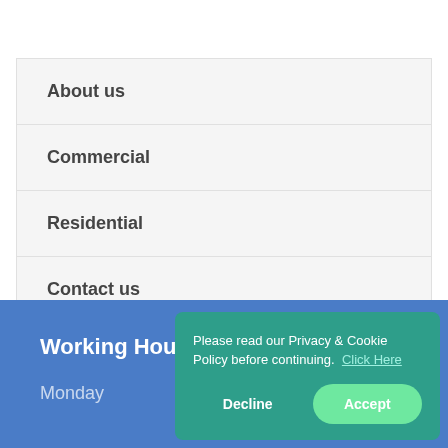About us
Commercial
Residential
Contact us
Working Hours
Monday
Please read our Privacy & Cookie Policy before continuing.  Click Here
Decline
Accept